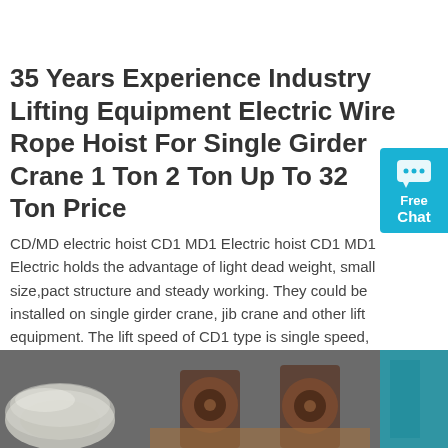35 Years Experience Industry Lifting Equipment Electric Wire Rope Hoist For Single Girder Crane 1 Ton 2 Ton Up To 32 Ton Price
CD/MD electric hoist CD1 MD1 Electric hoist CD1 MD1 Electric hoist holds the advantage of light dead weight, small size,pact structure and steady working. They could be installed on single girder crane, jib crane and other lift equipment. The lift speed of CD1 type is single speed, could fit d...
[Figure (photo): Industrial lifting equipment components including wire rope spools and machinery parts on a workbench]
Get Price